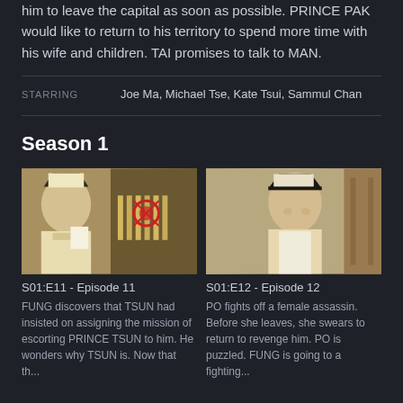him to leave the capital as soon as possible. PRINCE PAK would like to return to his territory to spend more time with his wife and children. TAI promises to talk to MAN.
STARRING   Joe Ma,  Michael Tse,  Kate Tsui,  Sammul Chan
Season 1
[Figure (photo): Screenshot from episode 11 showing a man in traditional Chinese costume holding a scroll/paper, with bamboo slips tied with red rope on the right side]
S01:E11 - Episode 11
FUNG discovers that TSUN had insisted on assigning the mission of escorting PRINCE TSUN to him. He wonders why TSUN is. Now that th...
[Figure (photo): Screenshot from episode 12 showing a man in traditional Chinese costume with a black and white hat, standing against a decorative background]
S01:E12 - Episode 12
PO fights off a female assassin. Before she leaves, she swears to return to revenge him. PO is puzzled. FUNG is going to a fighting...